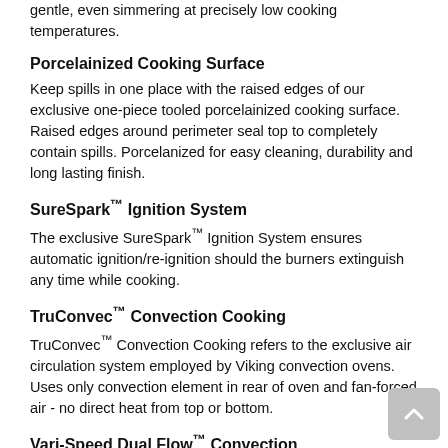gentle, even simmering at precisely low cooking temperatures.
Porcelainized Cooking Surface
Keep spills in one place with the raised edges of our exclusive one-piece tooled porcelainized cooking surface. Raised edges around perimeter seal top to completely contain spills. Porcelanized for easy cleaning, durability and long lasting finish.
SureSpark™ Ignition System
The exclusive SureSpark™ Ignition System ensures automatic ignition/re-ignition should the burners extinguish any time while cooking.
TruConvec™ Convection Cooking
TruConvec™ Convection Cooking refers to the exclusive air circulation system employed by Viking convection ovens. Uses only convection element in rear of oven and fan-forced air - no direct heat from top or bottom.
Vari-Speed Dual Flow™ Convection
Maximize airflow and fluffiness with Vari-Speed Dual